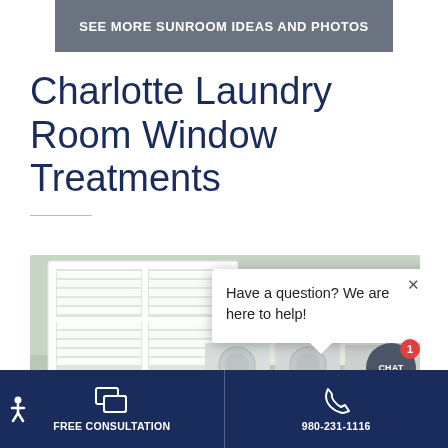SEE MORE SUNROOM IDEAS AND PHOTOS
Charlotte Laundry Room Window Treatments
[Figure (screenshot): Laundry room with white plantation shutters on window, washer and dryer visible, light green walls, white cabinetry. Overlaid chat popup reading 'Have a question? We are here to help!' with close button, and a chat button with badge showing 1.]
Have a question? We are here to help!
FREE CONSULTATION  |  980-231-1116